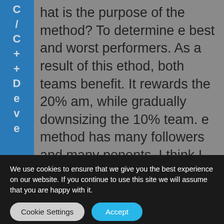hat is the purpose of the method? To determine e best and worst performers. As a result of this ethod, both teams benefit. It rewards the 20% am, while gradually downsizing the 10% team. e method has many followers and many ponents. I think I would never use it alone to epare decisions, as a low-performing employee ay perform well for years, but not now. However, hat happens when a leader creates such a division?
We use cookies to ensure that we give you the best experience on our website. If you continue to use this site we will assume that you are happy with it.